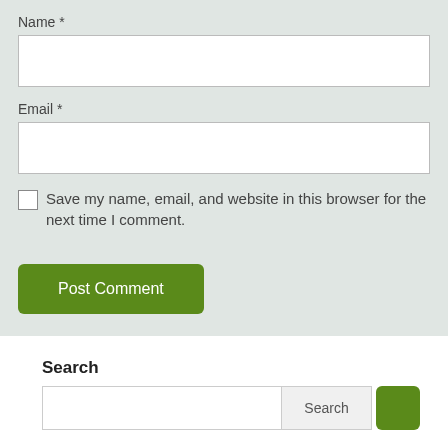Name *
[Figure (other): Empty text input field for Name]
Email *
[Figure (other): Empty text input field for Email]
Save my name, email, and website in this browser for the next time I comment.
[Figure (other): Post Comment green button]
Search
[Figure (other): Search input field with Search button and green icon]